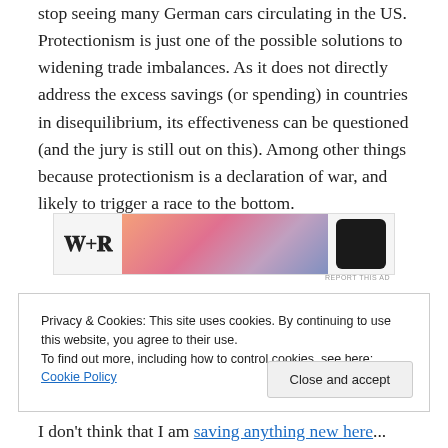stop seeing many German cars circulating in the US. Protectionism is just one of the possible solutions to widening trade imbalances. As it does not directly address the excess savings (or spending) in countries in disequilibrium, its effectiveness can be questioned (and the jury is still out on this). Among other things because protectionism is a declaration of war, and likely to trigger a race to the bottom.
[Figure (other): Advertisement banner with a logo (stylized W+P letters), a gradient graphic with orange/pink/purple tones, and a dark smartphone shape.]
Privacy & Cookies: This site uses cookies. By continuing to use this website, you agree to their use. To find out more, including how to control cookies, see here: Cookie Policy
Close and accept
I don't think that I am saving anything new here...